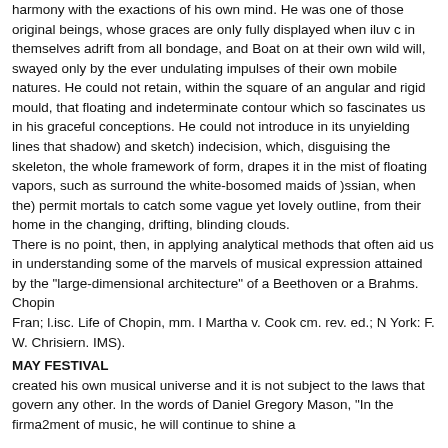harmony with the exactions of his own mind. He was one of those original beings, whose graces are only fully displayed when iluv c in themselves adrift from all bondage, and Boat on at their own wild will, swayed only by the ever undulating impulses of their own mobile natures. He could not retain, within the square of an angular and rigid mould, that floating and indeterminate contour which so fascinates us in his graceful conceptions. He could not introduce in its unyielding lines that shadow) and sketch) indecision, which, disguising the skeleton, the whole framework of form, drapes it in the mist of floating vapors, such as surround the white-bosomed maids of )ssian, when the) permit mortals to catch some vague yet lovely outline, from their home in the changing, drifting, blinding clouds.
There is no point, then, in applying analytical methods that often aid us in understanding some of the marvels of musical expression attained by the "large-dimensional architecture" of a Beethoven or a Brahms. Chopin
Fran; l.isc. Life of Chopin, mm. l Martha v. Cook cm. rev. ed.; N York: F. W. Chrisiern. IMS).
MAY FESTIVAL
created his own musical universe and it is not subject to the laws that govern any other. In the words of Daniel Gregory Mason, "In the firma2ment of music, he will continue to shine a